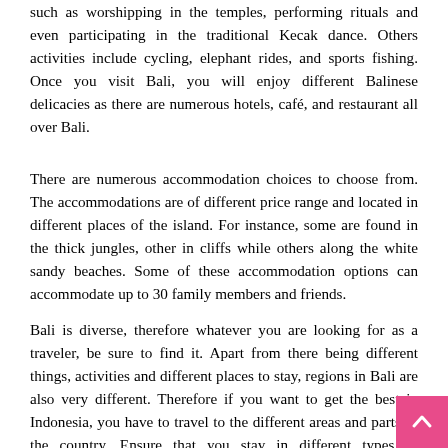such as worshipping in the temples, performing rituals and even participating in the traditional Kecak dance. Others activities include cycling, elephant rides, and sports fishing. Once you visit Bali, you will enjoy different Balinese delicacies as there are numerous hotels, café, and restaurant all over Bali.
There are numerous accommodation choices to choose from. The accommodations are of different price range and located in different places of the island. For instance, some are found in the thick jungles, other in cliffs while others along the white sandy beaches. Some of these accommodation options can accommodate up to 30 family members and friends.
Bali is diverse, therefore whatever you are looking for as a traveler, be sure to find it. Apart from there being different things, activities and different places to stay, regions in Bali are also very different. Therefore if you want to get the best in Indonesia, you have to travel to the different areas and parts of the country. Ensure that you stay in different types of accommodations while doing unique things and trying out new things.